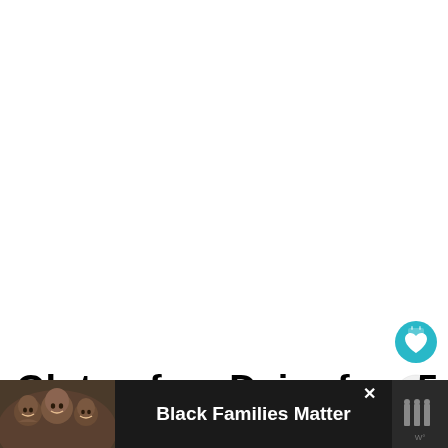[Figure (illustration): White blank upper area of a webpage screenshot]
[Figure (illustration): Circular teal/cyan button with a white heart icon, representing a save/favorite button]
[Figure (illustration): Circular light-gray button with a share icon (connected nodes)]
Gluten-free Dairy-free 5-Ingredients or Less Brownie Desserts
[Figure (infographic): WHAT'S NEXT card showing a thumbnail of a book/product and text reading 'Gluten-free Dairy-free...']
[Figure (photo): Advertisement banner at bottom: dark background, photo of smiling family on left, bold white text 'Black Families Matter', close X button, and a logo on right]